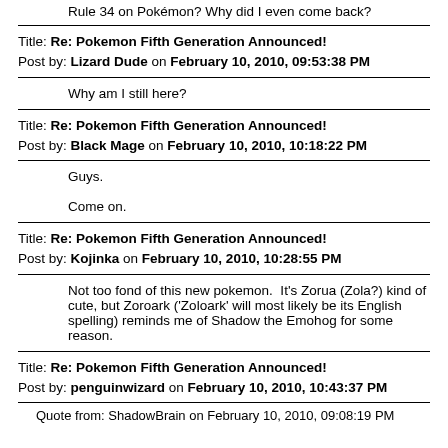Rule 34 on Pokémon? Why did I even come back?
Title: Re: Pokemon Fifth Generation Announced!
Post by: Lizard Dude on February 10, 2010, 09:53:38 PM
Why am I still here?
Title: Re: Pokemon Fifth Generation Announced!
Post by: Black Mage on February 10, 2010, 10:18:22 PM
Guys.

Come on.
Title: Re: Pokemon Fifth Generation Announced!
Post by: Kojinka on February 10, 2010, 10:28:55 PM
Not too fond of this new pokemon.  It's Zorua (Zola?) kind of cute, but Zoroark ('Zoloark' will most likely be its English spelling) reminds me of Shadow the Emohog for some reason.
Title: Re: Pokemon Fifth Generation Announced!
Post by: penguinwizard on February 10, 2010, 10:43:37 PM
Quote from: ShadowBrain on February 10, 2010, 09:08:19 PM